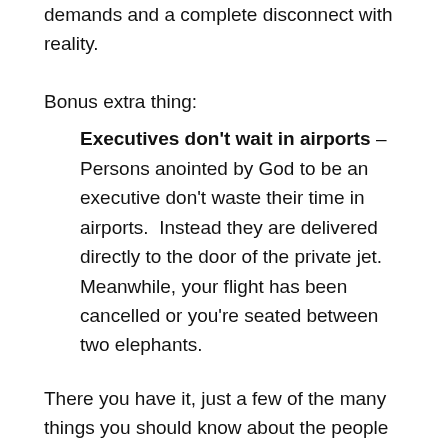way smarter than you. This leads to impossible demands and a complete disconnect with reality.
Bonus extra thing:
Executives don't wait in airports – Persons anointed by God to be an executive don't waste their time in airports. Instead they are delivered directly to the door of the private jet. Meanwhile, your flight has been cancelled or you're seated between two elephants.
There you have it, just a few of the many things you should know about the people in charge of your destiny. Unfortunately, knowing about them won't change anything. Furthermore, just thinking about it will just piss you off even more. Calm down. With Obama (soon to be